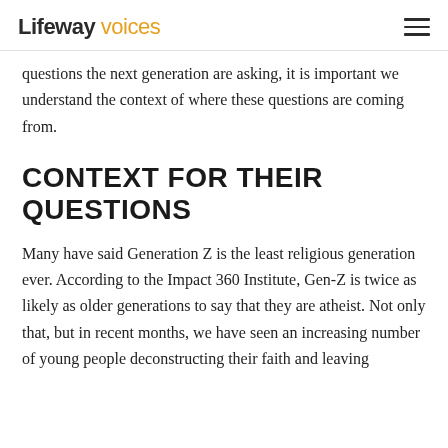Lifeway voices
questions the next generation are asking, it is important we understand the context of where these questions are coming from.
CONTEXT FOR THEIR QUESTIONS
Many have said Generation Z is the least religious generation ever. According to the Impact 360 Institute, Gen-Z is twice as likely as older generations to say that they are atheist. Not only that, but in recent months, we have seen an increasing number of young people deconstructing their faith and leaving